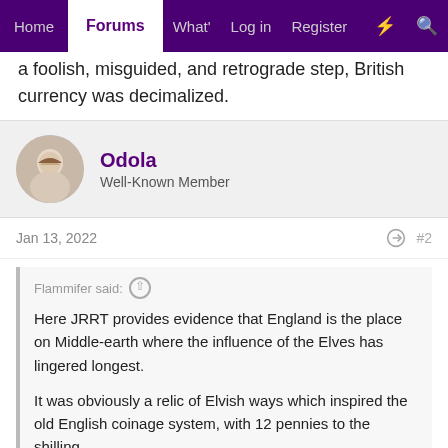Home | Forums | What's new | Log in | Register
a foolish, misguided, and retrograde step, British currency was decimalized.
Odola
Well-Known Member
Jan 13, 2022  #2
Flammifer said:
Here JRRT provides evidence that England is the place on Middle-earth where the influence of the Elves has lingered longest.

It was obviously a relic of Elvish ways which inspired the old English coinage system, with 12 pennies to the shilling.

Unfortunately, Elvish influence continues to fade, as in 1971, in a foolish, misguided, and retrograde step, British currency was decimalized.
Currency being it itself such an un-elvish concept, I do think